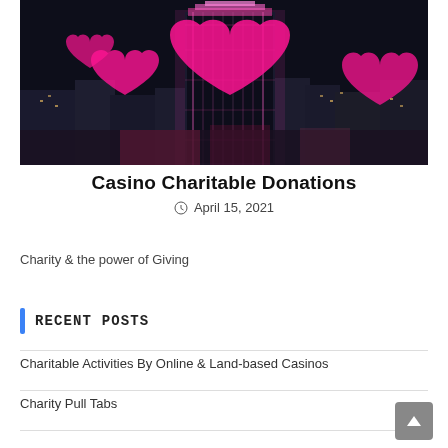[Figure (photo): Nighttime cityscape with a tall illuminated hotel building and pink heart overlays on a dark background]
Casino Charitable Donations
April 15, 2021
Charity & the power of Giving
Recent Posts
Charitable Activities By Online & Land-based Casinos
Charity Pull Tabs